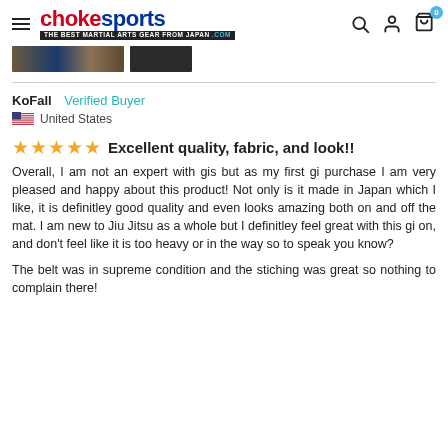chokesports - THE BEST MARTIAL ARTS GEAR FROM JAPAN .com
[Figure (screenshot): Product thumbnail images showing a gi/martial arts uniform]
KoFall   Verified Buyer
🇺🇸 United States
★★★★★   Excellent quality, fabric, and look!!
Overall, I am not an expert with gis but as my first gi purchase I am very pleased and happy about this product! Not only is it made in Japan which I like, it is definitley good quality and even looks amazing both on and off the mat. I am new to Jiu Jitsu as a whole but I definitley feel great with this gi on, and don't feel like it is too heavy or in the way so to speak you know?

The belt was in supreme condition and the stiching was great so nothing to complain there!